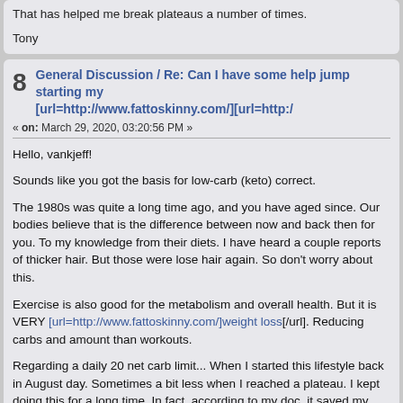That has helped me break plateaus a number of times.

Tony
8  General Discussion / Re: Can I have some help jump starting my [url=http://www.fattoskinny.com/][url=http:/
« on: March 29, 2020, 03:20:56 PM »
Hello, vankjeff!

Sounds like you got the basis for low-carb (keto) correct.

The 1980s was quite a long time ago, and you have aged since. Our bodies believe that is the difference between now and back then for you. To my knowledge from their diets. I have heard a couple reports of thicker hair. But those were lose hair again. So don't worry about this.

Exercise is also good for the metabolism and overall health. But it is VERY [url=http://www.fattoskinny.com/]weight loss[/url]. Reducing carbs and amount than workouts.

Regarding a daily 20 net carb limit... When I started this lifestyle back in August day. Sometimes a bit less when I reached a plateau. I kept doing this for a long time. In fact, according to my doc, it saved my life. In my case, the 20-carb years with only good results. But let your body and your doctor tell you where